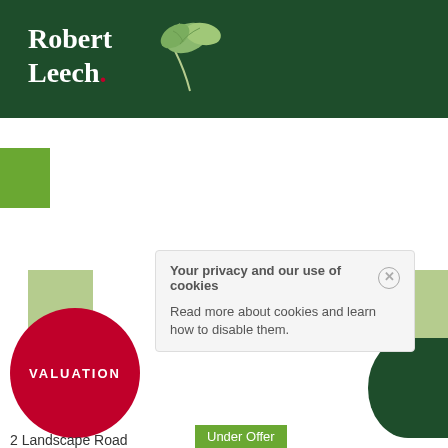[Figure (logo): Robert Leech estate agency logo with green leaf/plant illustration on dark green header background]
[Figure (illustration): Bright green square decorative block at top-left below header]
[Figure (illustration): Light green square decorative block at middle-left]
[Figure (illustration): Light green square decorative block at middle-right]
[Figure (illustration): Dark green semicircle at bottom-right]
[Figure (illustration): Red circle with VALUATION text at bottom-left]
Your privacy and our use of cookies
Read more about cookies and learn how to disable them.
2 Landscape Road
Under Offer